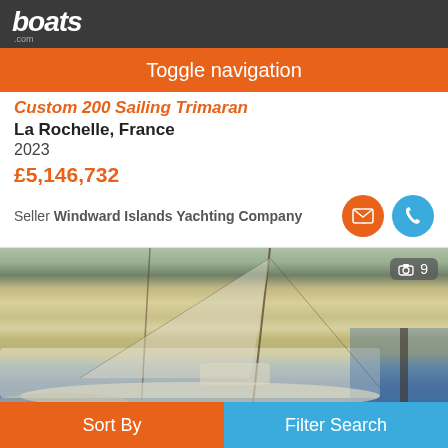boats.com
Toggle navigation
Custom 200 Sailing Trimaran
La Rochelle, France
2023
£5,146,732
Seller Windward Islands Yachting Company
[Figure (photo): Sailing trimaran moored at marina in La Rochelle, France. White hulls visible with masts and rigging. Other boats in background. Water visible on right side. Photo counter showing 9 images.]
Sort By
Filter Search